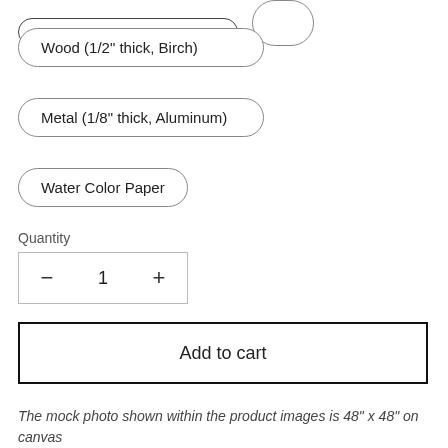Wood (1/2" thick, Birch)
Metal (1/8" thick, Aluminum)
Water Color Paper
Quantity
[Figure (other): Quantity selector with minus button, number 1, and plus button in a bordered box]
[Figure (other): Add to cart button with border]
The mock photo shown within the product images is 48" x 48" on canvas
QUICK LOOK BUYER'S GUIDE:
The most popular material and size option is 24 x 24 on